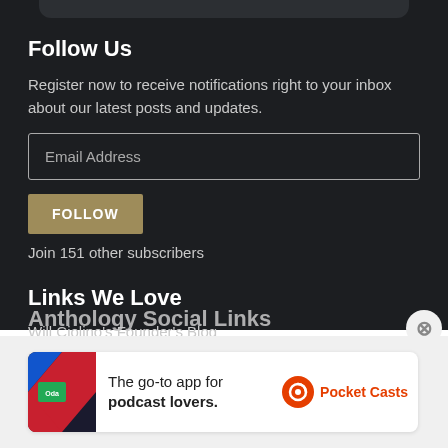[Figure (screenshot): Top rounded bar element from a mobile app screenshot]
Follow Us
Register now to receive notifications right to your inbox about our latest posts and updates.
[Figure (screenshot): Email Address input field with border]
[Figure (screenshot): FOLLOW button in tan/gold color]
Join 151 other subscribers
Links We Love
Will Ciolino's Founder's Blog
Anthology Social Links
[Figure (screenshot): Advertisement banner: Pocket Casts - The go-to app for podcast lovers]